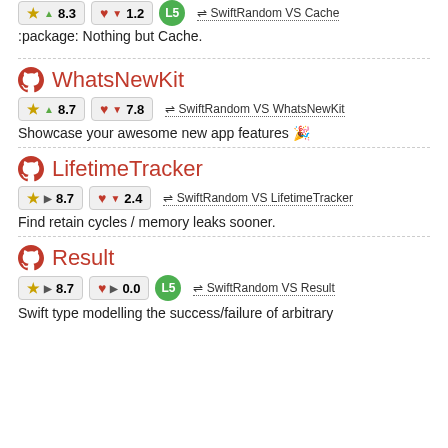:package: Nothing but Cache.
WhatsNewKit
★ ▲ 8.7   ♥ ▼ 7.8   ⇌ SwiftRandom VS WhatsNewKit
Showcase your awesome new app features 🎉
LifetimeTracker
★ ▶ 8.7   ♥ ▼ 2.4   ⇌ SwiftRandom VS LifetimeTracker
Find retain cycles / memory leaks sooner.
Result
★ ▶ 8.7   ♥ ▶ 0.0   L5   ⇌ SwiftRandom VS Result
Swift type modelling the success/failure of arbitrary